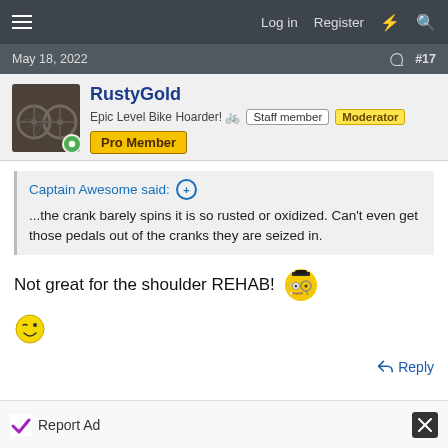Log in   Register
May 18, 2022   #17
RustyGold
Epic Level Bike Hoarder! 🚲  Staff member  Moderator
Pro Member
Captain Awesome said: ⊕
...the crank barely spins it is so rusted or oxidized. Can't even get those pedals out of the cranks they are seized in.
Not great for the shoulder REHAB! 🧐
😉
↩ Reply
Report Ad